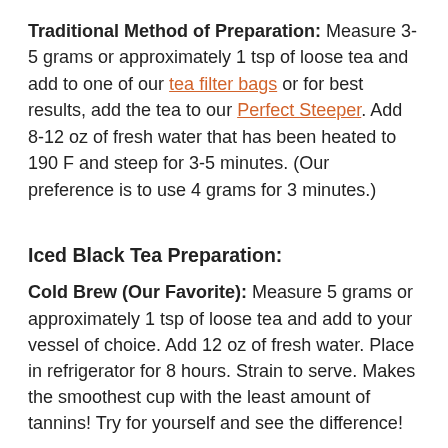Traditional Method of Preparation: Measure 3-5 grams or approximately 1 tsp of loose tea and add to one of our tea filter bags or for best results, add the tea to our Perfect Steeper. Add 8-12 oz of fresh water that has been heated to 190 F and steep for 3-5 minutes. (Our preference is to use 4 grams for 3 minutes.)
Iced Black Tea Preparation:
Cold Brew (Our Favorite): Measure 5 grams or approximately 1 tsp of loose tea and add to your vessel of choice. Add 12 oz of fresh water. Place in refrigerator for 8 hours. Strain to serve. Makes the smoothest cup with the least amount of tannins! Try for yourself and see the difference!